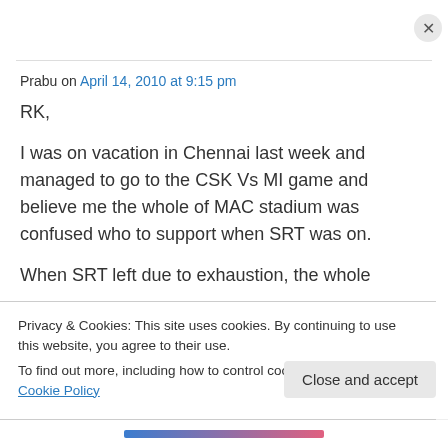Prabu on April 14, 2010 at 9:15 pm
RK,
I was on vacation in Chennai last week and managed to go to the CSK Vs MI game and believe me the whole of MAC stadium was confused who to support when SRT was on. When SRT left due to exhaustion, the whole
Privacy & Cookies: This site uses cookies. By continuing to use this website, you agree to their use.
To find out more, including how to control cookies, see here: Cookie Policy
Close and accept